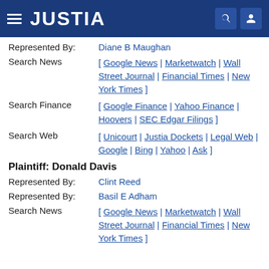JUSTIA
Represented By: Diane B Maughan
Search News [ Google News | Marketwatch | Wall Street Journal | Financial Times | New York Times ]
Search Finance [ Google Finance | Yahoo Finance | Hoovers | SEC Edgar Filings ]
Search Web [ Unicourt | Justia Dockets | Legal Web | Google | Bing | Yahoo | Ask ]
Plaintiff: Donald Davis
Represented By: Clint Reed
Represented By: Basil E Adham
Search News [ Google News | Marketwatch | Wall Street Journal | Financial Times | New York Times ]